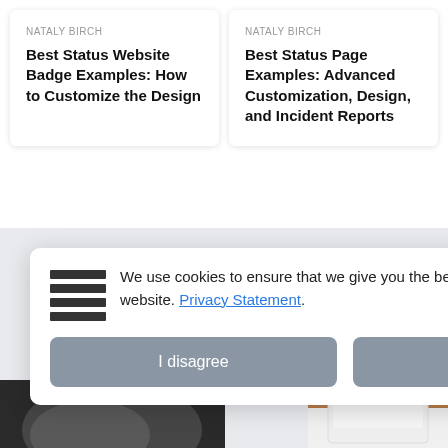NATALY BIRCH
Best Status Website Badge Examples: How to Customize the Design
NATALY BIRCH
Best Status Page Examples: Advanced Customization, Design, and Incident Reports
We use cookies to ensure that we give you the best experience on our website. Privacy Statement.
I disagree
I agree